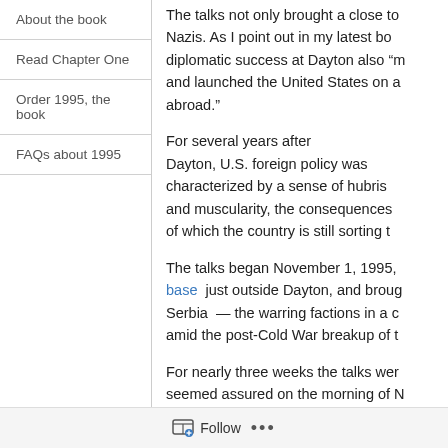About the book
Read Chapter One
Order 1995, the book
FAQs about 1995
The talks not only brought a close to Nazis. As I point out in my latest bo diplomatic success at Dayton also “m and launched the United States on a abroad.”
For several years after Dayton, U.S. foreign policy was characterized by a sense of hubris and muscularity, the consequences of which the country is still sorting t
The talks began November 1, 1995, base just outside Dayton, and broug Serbia — the warring factions in a c amid the post-Cold War breakup of t
For nearly three weeks the talks wer seemed assured on the morning of N led by Richard C. Holbrooke, an ass
Follow ...